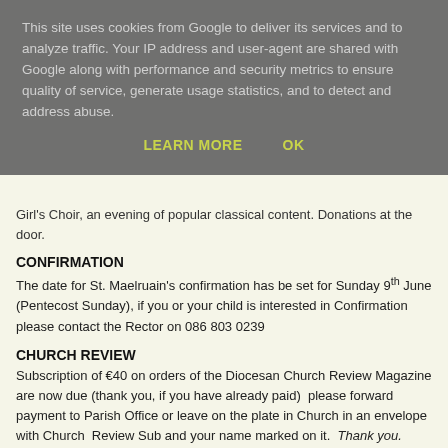This site uses cookies from Google to deliver its services and to analyze traffic. Your IP address and user-agent are shared with Google along with performance and security metrics to ensure quality of service, generate usage statistics, and to detect and address abuse.
LEARN MORE   OK
Girl's Choir, an evening of popular classical content. Donations at the door.
CONFIRMATION
The date for St. Maelruain's confirmation has be set for Sunday 9th June (Pentecost Sunday), if you or your child is interested in Confirmation please contact the Rector on 086 803 0239
CHURCH REVIEW
Subscription of €40 on orders of the Diocesan Church Review Magazine are now due (thank you, if you have already paid)  please forward payment to Parish Office or leave on the plate in Church in an envelope with Church  Review Sub and your name marked on it.  Thank you.